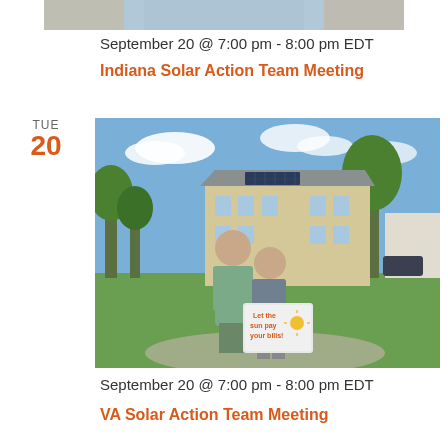[Figure (photo): Partial top strip of a photo showing people outdoors]
September 20 @ 7:00 pm - 8:00 pm EDT
Indiana Solar Action Team Meeting
TUE
20
[Figure (photo): Two people standing in front of a large stone farmhouse with solar panels on roof, holding a sign reading 'Let the sun pay your bills!']
September 20 @ 7:00 pm - 8:00 pm EDT
VA Solar Action Team Meeting